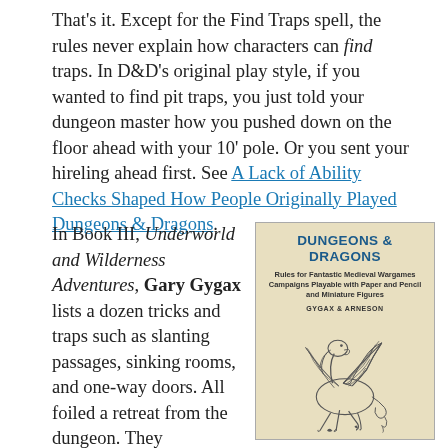That's it. Except for the Find Traps spell, the rules never explain how characters can find traps. In D&D's original play style, if you wanted to find pit traps, you just told your dungeon master how you pushed down on the floor ahead with your 10' pole. Or you sent your hireling ahead first. See A Lack of Ability Checks Shaped How People Originally Played Dungeons & Dragons.
In Book III, Underworld and Wilderness Adventures, Gary Gygax lists a dozen tricks and traps such as slanting passages, sinking rooms, and one-way doors. All foiled a retreat from the dungeon. They threatened to make
[Figure (illustration): Cover of the original Dungeons & Dragons book published by Gygax & Arneson, featuring a winged horse (pegasus) illustration on a cream/beige background. The title 'DUNGEONS & DRAGONS' appears at the top in bold blue text, with subtitle 'Rules for Fantastic Medieval Wargames Campaigns Playable with Paper and Pencil and Miniature Figures' and author credit 'GYGAX & ARNESON'.]